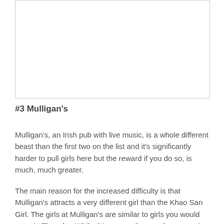[Figure (other): Blank white image placeholder with light gray border]
#3 Mulligan's
Mulligan's, an Irish pub with live music, is a whole different beast than the first two on the list and it's significantly harder to pull girls here but the reward if you do so, is much, much greater.
The main reason for the increased difficulty is that Mulligan's attracts a very different girl than the Khao San Girl. The girls at Mulligan's are similar to girls you would meet in Thonglor. While this means they are less easy, it